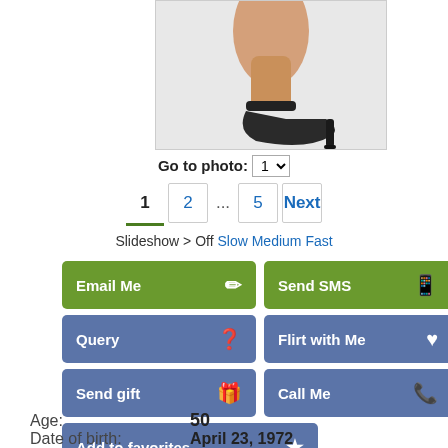[Figure (photo): Cropped photo of person wearing high heels]
Go to photo: 1
1  2  ...  5  Next
Slideshow > Off Slow Medium Fast
Email Me
Send SMS
Query
Flirt with Me
Send gift
Call Me
Add to favorites
Age: 50
Date of birth: April 23, 1972